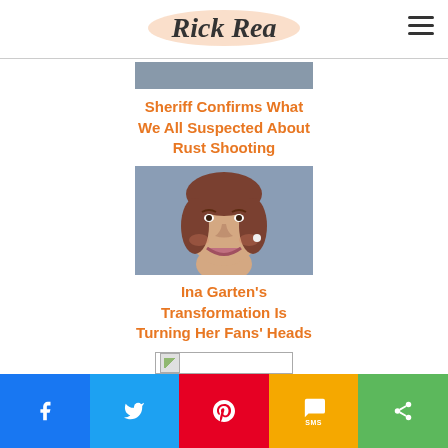Rick Rea
[Figure (photo): Partial top image cropped at top of content area]
Sheriff Confirms What We All Suspected About Rust Shooting
[Figure (photo): Portrait photo of Ina Garten, a smiling woman with short brown hair wearing pearl earring and denim top]
Ina Garten's Transformation Is Turning Her Fans' Heads
[Figure (photo): Small broken image placeholder]
f  Twitter  Pinterest  SMS  Share